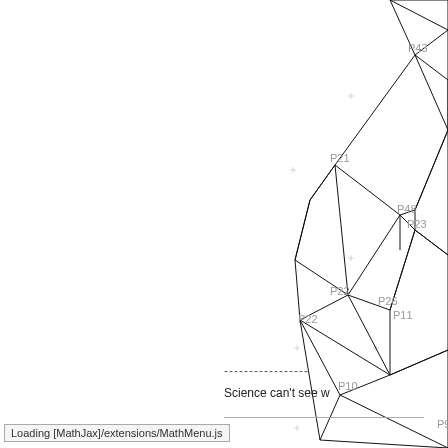[Figure (engineering-diagram): Partial 3D mesh/polyhedron diagram showing triangulated faces with labeled points: P43, P21, P48, P23, P22, P26, P11, P22 (second), P10, P9. Small plus (+) markers indicate grid or mesh nodes. The diagram is cut off on the right and bottom edges.]
-----------------
Science can't see w
Loading [MathJax]/extensions/MathMenu.js